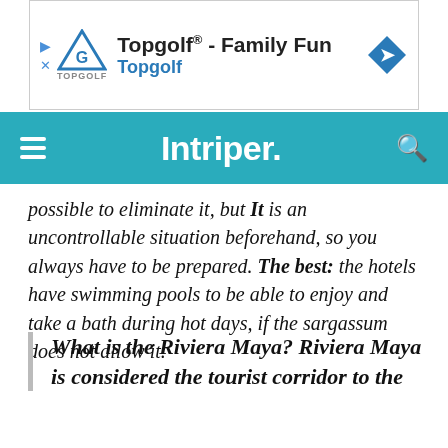[Figure (other): Topgolf advertisement banner with logo and navigation arrow]
Intriper.
possible to eliminate it, but It is an uncontrollable situation beforehand, so you always have to be prepared. The best: the hotels have swimming pools to be able to enjoy and take a bath during hot days, if the sargassum does not allow it.
What is the Riviera Maya? Riviera Maya is considered the tourist corridor to the